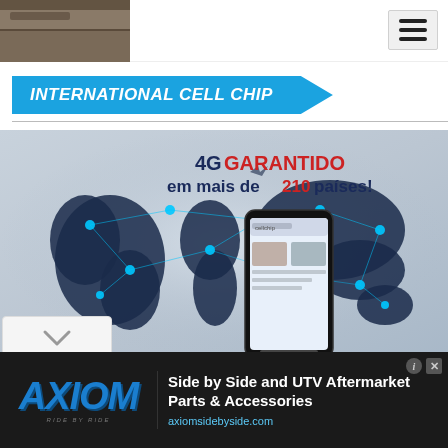[Figure (screenshot): Partial view of an image in the top-left corner of the page, partially cropped]
[Figure (screenshot): Hamburger menu icon (three horizontal lines) in top-right navigation bar]
INTERNATIONAL CELL CHIP
[Figure (illustration): International Cell Chip promotional image showing a smartphone in front of a world map with network connections. Text reads: 4G GARANTIDO em mais de 210 países!]
[Figure (advertisement): Axiom Ride by Ride advertisement banner. Text: Side by Side and UTV Aftermarket Parts & Accessories. Website: axiomsidebyside.com]